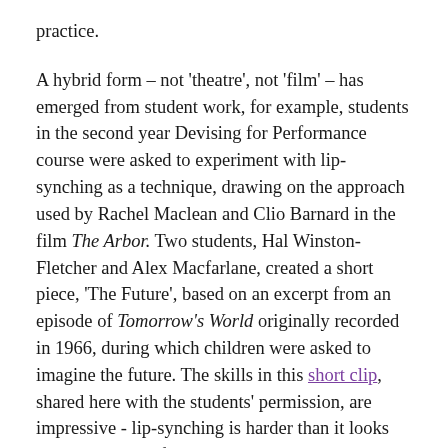practice.

A hybrid form – not 'theatre', not 'film' – has emerged from student work, for example, students in the second year Devising for Performance course were asked to experiment with lip-synching as a technique, drawing on the approach used by Rachel Maclean and Clio Barnard in the film The Arbor. Two students, Hal Winston-Fletcher and Alex Macfarlane, created a short piece, 'The Future', based on an excerpt from an episode of Tomorrow's World originally recorded in 1966, during which children were asked to imagine the future. The skills in this short clip, shared here with the students' permission, are impressive - lip-synching is harder than it looks and the quality of the editing is excellent. But it is also compelling to witness these words, originally spoken in 1966, re-enacted by two students navigating a present and a future even more fearful and uncertain than that